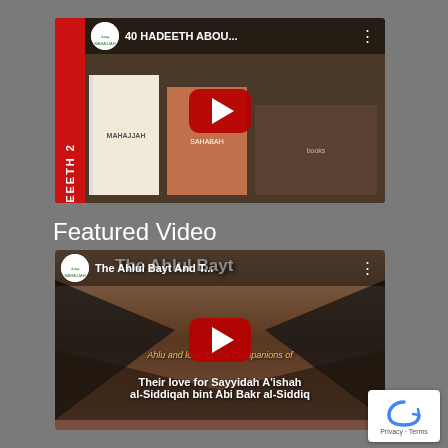[Figure (screenshot): YouTube video thumbnail for '40 HADEETH ABOU...' by MAHAJJAH channel, showing books with red stripe on left side]
Featured Video
[Figure (screenshot): YouTube video thumbnail for 'The Ahlul Bayt And T...' by MAHAJJAH channel, showing text about their love for Sayyidah A'ishah al-Siddiqah bint Abi Bakr al-Siddiq]
[Figure (other): reCAPTCHA badge in bottom right corner showing Privacy - Terms text]